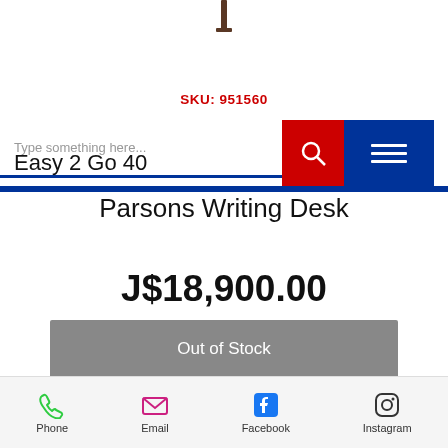[Figure (photo): Small brown desk/furniture icon at top center]
SKU: 951560
[Figure (screenshot): Navigation bar with search input 'Type something here...', red search button with magnifier icon, and blue hamburger menu button]
Easy 2 Go 40 Parsons Writing Desk
J$18,900.00
Out of Stock
Create a classic, minimalist work
Phone  Email  Facebook  Instagram